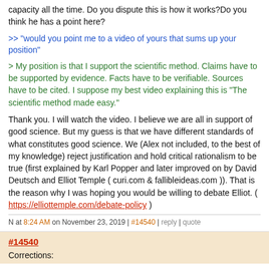capacity all the time. Do you dispute this is how it works?Do you think he has a point here?
>> "would you point me to a video of yours that sums up your position"
> My position is that I support the scientific method. Claims have to be supported by evidence. Facts have to be verifiable. Sources have to be cited. I suppose my best video explaining this is "The scientific method made easy."
Thank you. I will watch the video. I believe we are all in support of good science. But my guess is that we have different standards of what constitutes good science. We (Alex not included, to the best of my knowledge) reject justification and hold critical rationalism to be true (first explained by Karl Popper and later improved on by David Deutsch and Elliot Temple ( curi.com & fallibleideas.com )). That is the reason why I was hoping you would be willing to debate Elliot. ( https://elliottemple.com/debate-policy )
N at 8:24 AM on November 23, 2019 | #14540 | reply | quote
#14540
Corrections: